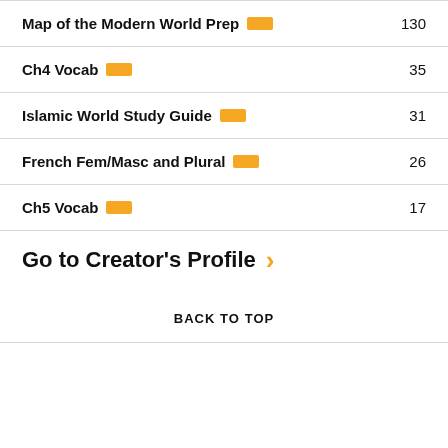Map of the Modern World Prep  130
Ch4 Vocab  35
Islamic World Study Guide  31
French Fem/Masc and Plural  26
Ch5 Vocab  17
Go to Creator's Profile
BACK TO TOP